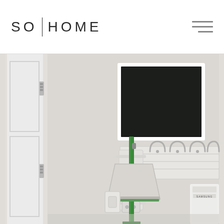SO|HOME
[Figure (photo): Interior laundry/utility room photo showing a white wall with a framed chalkboard mounted high, a wall-mounted mop and broom holder with a green-handled broom and dustpan, a white wall with a coat hook rail, and part of a Samsung washing machine visible on the right. A white door with hinge is visible on the left.]